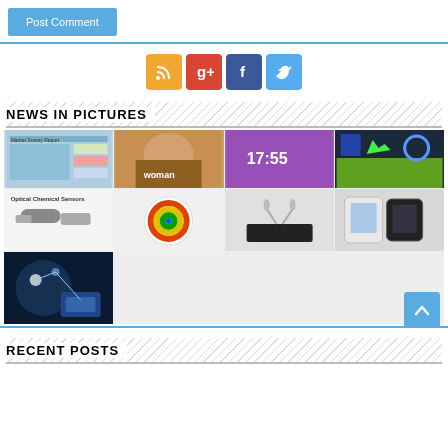Post Comment
[Figure (infographic): Social media icons: RSS (orange), Google+ (red), Facebook (blue), Twitter (light blue)]
NEWS IN PICTURES
[Figure (photo): Grid of 9 news images including: a network/market chart, a woman with sunglasses, a Samsung smartphone, a tech infographic, optical chemical sensors, a colorful camera app icon, audio equipment, Samsung phones, and a digital technology concept image]
[Figure (other): Back to top button (blue arrow)]
RECENT POSTS